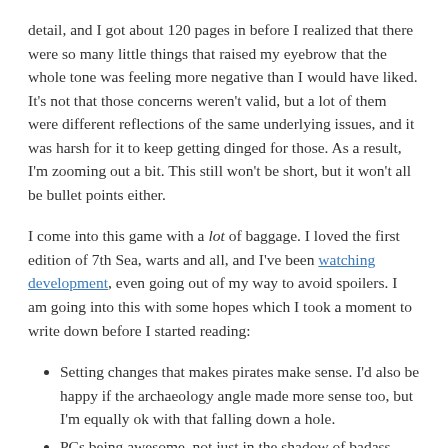detail, and I got about 120 pages in before I realized that there were so many little things that raised my eyebrow that the whole tone was feeling more negative than I would have liked. It's not that those concerns weren't valid, but a lot of them were different reflections of the same underlying issues, and it was harsh for it to keep getting dinged for those. As a result, I'm zooming out a bit. This still won't be short, but it won't all be bullet points either.
I come into this game with a lot of baggage. I loved the first edition of 7th Sea, warts and all, and I've been watching development, even going out of my way to avoid spoilers. I am going into this with some hopes which I took a moment to write down before I started reading:
Setting changes that makes pirates make sense. I'd also be happy if the archaeology angle made more sense too, but I'm equally ok with that falling down a hole.
PCs being awesome, not just in the shadow of badass